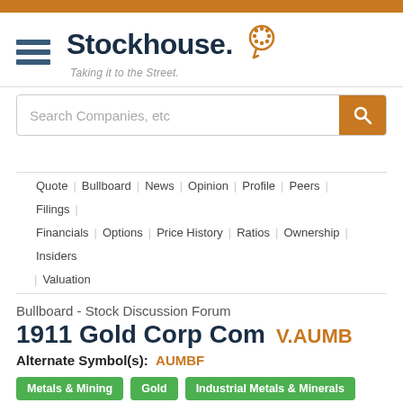Stockhouse - Taking it to the Street.
Search Companies, etc
Quote | Bullboard | News | Opinion | Profile | Peers | Filings | Financials | Options | Price History | Ratios | Ownership | Insiders | Valuation
Bullboard - Stock Discussion Forum
1911 Gold Corp Com V.AUMB
Alternate Symbol(s): AUMBF
Metals & Mining | Gold | Industrial Metals & Minerals